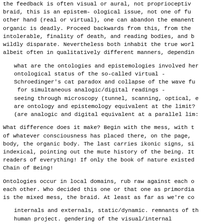the feedback is often visual or aural, not proprioceptive. braid, this is an epistem- ological issue, not one of fu other hand (real or virtual), one can abandon the emanent organic is deadly. Proceed backwards from this, from the intolerable, finality of death, and reading bodies, and b wildly disparate. Nevertheless both inhabit the true worl albeit often in qualitatively different manners, dependin
what are the ontologies and epistemologies involved her ontological status of the so-called virtual - Schroedinger's cat paradox and collapse of the wave fu  for simultaneous analogic/digital readings - seeing through microscopy (tunnel, scanning, optical, e are ontology and epistemology equivalent at the limit? (are analogic and digital equivalent at a parallel lim:
What difference does it make? Begin with the mess, with t of whatever consciousness has placed there, on the page, body, the organic body. The last carries ikonic signs, si indexical, pointing out the mute history of the being. It readers of everything! If only the book of nature existed Chain of Being!
Ontologies occur in local domains, rub raw against each o each other. Who decided this one or that one as primordia is the mixed mess, the braid. At least as far as we're co
internals and externals, static/dynamic. remnants of th human project. gendering of the visual/internal